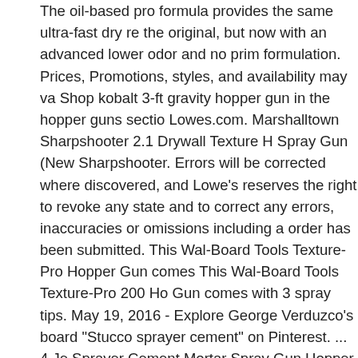The oil-based pro formula provides the same ultra-fast dry re the original, but now with an advanced lower odor and no prim formulation. Prices, Promotions, styles, and availability may va Shop kobalt 3-ft gravity hopper gun in the hopper guns sectio Lowes.com. Marshalltown Sharpshooter 2.1 Drywall Texture H Spray Gun (New Sharpshooter. Errors will be corrected where discovered, and Lowe's reserves the right to revoke any state and to correct any errors, inaccuracies or omissions including a order has been submitted. This Wal-Board Tools Texture-Pro Hopper Gun comes This Wal-Board Tools Texture-Pro 200 Ho Gun comes with 3 spray tips. May 19, 2016 - Explore George Verduzco's board "Stucco sprayer cement" on Pinterest. ... 4 Je Sprayer Cement Mortar Spray Gun Hopper Concrete Stucco 2c Ship. 4 out of 5 stars Let the compound or texture paint set fo 30 minutes until tacky. It has a 1-piece body with a comfortable and on-gun flow control. 2,679 sold. If your using the sprayer, spray the wall with the hopper gun in a long, vertical strokes, b careful not to over-spray in one area. These failed, I returned The Wagner electric texture gun and a hopper gun setup that